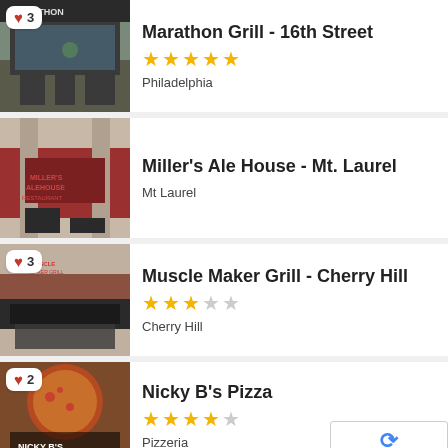[Figure (photo): Restaurant exterior photo of Marathon Grill - 16th Street with heart badge showing 3]
Marathon Grill - 16th Street
[Figure (other): 5 star rating (5 filled stars)]
Philadelphia
[Figure (photo): Restaurant exterior photo of Miller's Ale House - Mt. Laurel (no badge)]
Miller's Ale House - Mt. Laurel
Mt Laurel
[Figure (photo): Restaurant exterior photo of Muscle Maker Grill - Cherry Hill with heart badge showing 3]
Muscle Maker Grill - Cherry Hill
[Figure (other): 3 star rating (3 filled stars, 2 empty)]
Cherry Hill
[Figure (photo): Food/restaurant photo of Nicky B's Pizza with heart badge showing 2]
Nicky B's Pizza
[Figure (other): 4 star rating (4 filled stars, 1 empty)]
Pizzeria